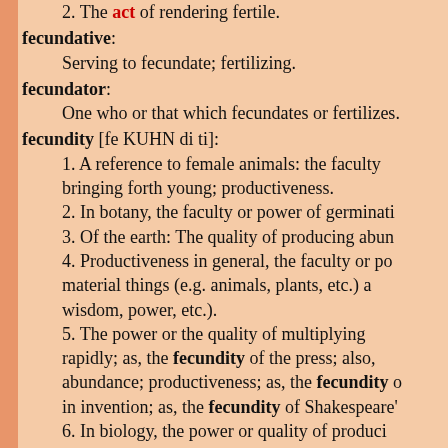2. The act of rendering fertile.
fecundative: Serving to fecundate; fertilizing.
fecundator: One who or that which fecundates or fertilizes.
fecundity [fe KUHN di ti]: 1. A reference to female animals: the faculty bringing forth young; productiveness. 2. In botany, the faculty or power of germinating. 3. Of the earth: The quality of producing abundance. 4. Productiveness in general, the faculty or power of material things (e.g. animals, plants, etc.) and wisdom, power, etc.). 5. The power or the quality of multiplying rapidly; as, the fecundity of the press; also, abundance; productiveness; as, the fecundity of in invention; as, the fecundity of Shakespeare's. 6. In biology, the power or quality of producing numbers; potential reproductive capacity, as mature, fertilizable ova, and to produce from them. 7. In demography, the ability to conceive repro.